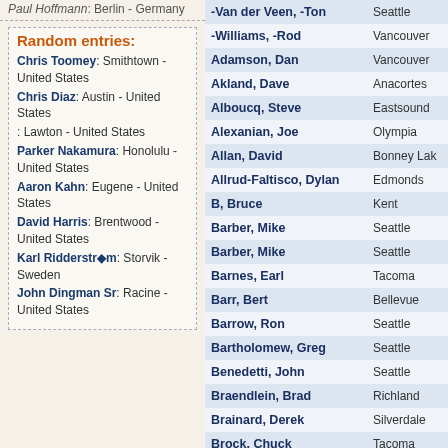Paul Hoffmann: Berlin - Germany
Random entries:
Chris Toomey: Smithtown - United States
Chris Diaz: Austin - United States
: Lawton - United States
Parker Nakamura: Honolulu - United States
Aaron Kahn: Eugene - United States
David Harris: Brentwood - United States
Karl Ridderstrom: Storvik - Sweden
John Dingman Sr: Racine - United States
| Name | City |
| --- | --- |
| -Van der Veen, -Ton | Seattle |
| -Williams, -Rod | Vancouver |
| Adamson, Dan | Vancouver |
| Akland, Dave | Anacortes |
| Alboucq, Steve | Eastsound |
| Alexanian, Joe | Olympia |
| Allan, David | Bonney Lake |
| Allrud-Faltisco, Dylan | Edmonds |
| B, Bruce | Kent |
| Barber, Mike | Seattle |
| Barber, Mike | Seattle |
| Barnes, Earl | Tacoma |
| Barr, Bert | Bellevue |
| Barrow, Ron | Seattle |
| Bartholomew, Greg | Seattle |
| Benedetti, John | Seattle |
| Braendlein, Brad | Richland |
| Brainard, Derek | Silverdale |
| Brock, Chuck | Tacoma |
| Burton, Ralph | Bremerton |
| Butler, Charles | Kenmore |
| caldwell, barry |  |
| Coning, Craig | Eastmond |